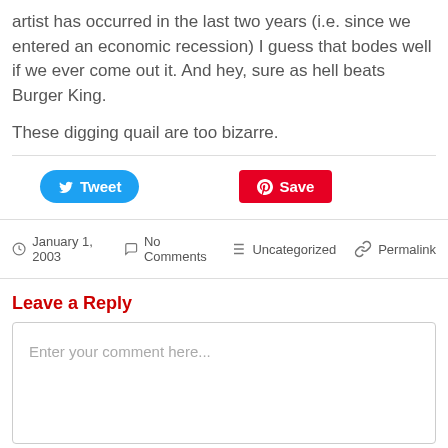artist has occurred in the last two years (i.e. since we entered an economic recession) I guess that bodes well if we ever come out it. And hey, sure as hell beats Burger King.
These digging quail are too bizarre.
[Figure (screenshot): Social sharing buttons: Tweet (blue, Twitter) and Save (red, Pinterest)]
January 1, 2003   No Comments   Uncategorized   Permalink
Leave a Reply
Enter your comment here...